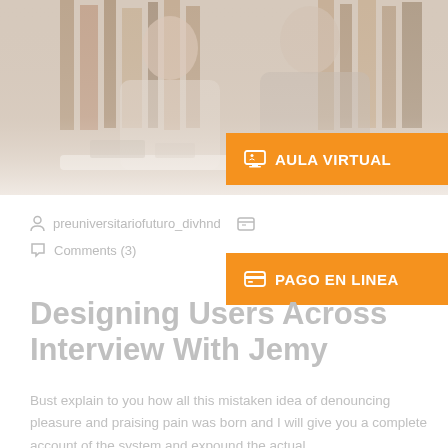[Figure (photo): Two young women smiling and studying together in a library, with bookshelves in the background. Image is faded/light.]
[Figure (other): Orange button labeled 'AULA VIRTUAL' with a monitor icon]
preuniversitariofuturo_divhnd
[Figure (other): Orange button labeled 'PAGO EN LINEA' with a credit card icon]
Comments (3)
Designing Users Across Interview With Jemy
Bust explain to you how all this mistaken idea of denouncing pleasure and praising pain was born and I will give you a complete account of the system and expound the actual